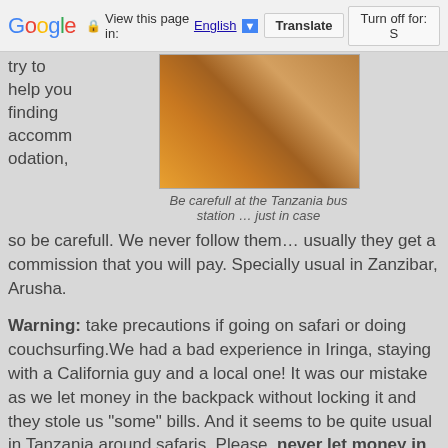Google | View this page in: English | Translate | Turn off for: S
try to help you finding accommodation,
[Figure (photo): Photo of people in colorful traditional clothing at a Tanzania bus station]
Be carefull at the Tanzania bus station … just in case
so be carefull. We never follow them… usually they get a commission that you will pay. Specially usual in Zanzibar, Arusha.
Warning: take precautions if going on safari or doing couchsurfing.We had a bad experience in Iringa, staying with a California guy and a local one! It was our mistake as we let money in the backpack without locking it and they stole us "some" bills. And it seems to be quite usual in Tanzania around safaris. Please, never let money in the room or tent.
Warning with the tour companies in Tanzania: before booking and paying for a tour (safari, etc.), check the references about